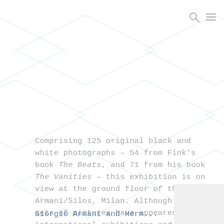[Figure (illustration): Light blue diamond/rhombus grid pattern as decorative background watermark across the full page]
[Figure (illustration): Search icon (magnifying glass) and hamburger menu icon in grey, top right corner]
Comprising 125 original black and white photographs – 54 from Fink's book The Beats, and 71 from his book The Vanities – this exhibition is on view at the ground floor of the Armani/Silos, Milan. Although both sets of pictures have appeared in international exhibitions and photography festivals, they have never before been shown together, making The Beats and The Vanities a unique opportunity to gain a special insight into this photographer's idiosyncratic vision.
Giorgio Armani and Herm...